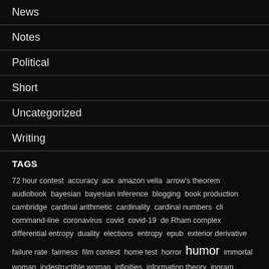News
Notes
Political
Short
Uncategorized
Writing
TAGS
72 hour contest accuracy acx amazon vella arrow's theorem audiobook bayesian bayesian inference blogging book production cambridge cardinal arithmetic cardinality cardinal numbers cli command-line coronavirus covid covid-19 de Rham complex differential entropy duality elections entropy epub exterior derivative failure rate fairness film contest home test horror humor immortal woman indestructible woman infinities information theory ingram intellectual property kindle latex lie coalgebra lie derivatives linux literary fantasy markov chains mathematical metrics
mathy